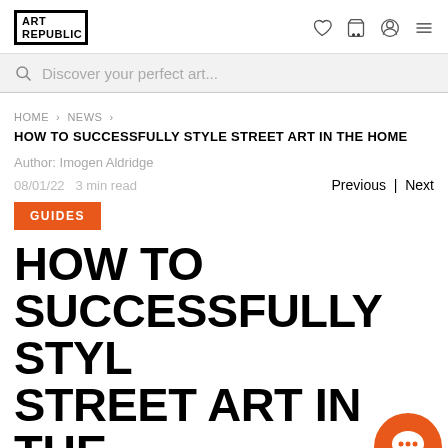ART REPUBLIC
Discover your perfect art...
HOME > NEWS >
HOW TO SUCCESSFULLY STYLE STREET ART IN THE HOME
Author: Imogen Aldridge
08/01/22  3 min read
Previous | Next
GUIDES
HOW TO SUCCESSFULLY STYLE STREET ART IN THE